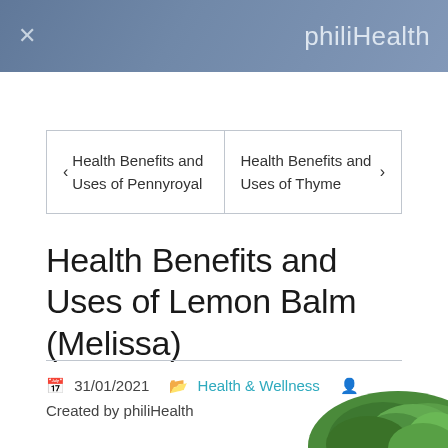× philiHealth
‹ Health Benefits and Uses of Pennyroyal   Health Benefits and Uses of Thyme ›
Health Benefits and Uses of Lemon Balm (Melissa)
31/01/2021   Health & Wellness   Created by philiHealth
[Figure (photo): Green herbs/leaves visible at bottom right corner of the page]